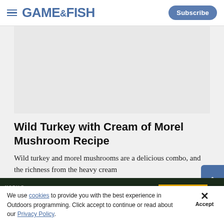GAME&FISH | Subscribe
[Figure (photo): Article hero image placeholder (light gray area)]
Wild Turkey with Cream of Morel Mushroom Recipe
Wild turkey and morel mushrooms are a delicious combo, and the richness from the heavy cream
Jenny Nguyen-Wheatley
[Figure (screenshot): Advertisement banner: EDGE MOBILE - SHOP NOW]
We use cookies to provide you with the best experience in Outdoors programming. Click accept to continue or read about our Privacy Policy.